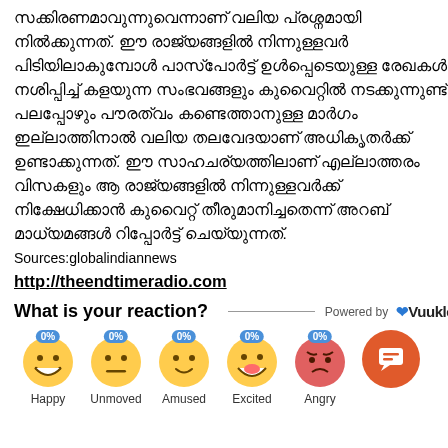സക്കിരണമാവുന്നുവെന്നാണ് വലിയ പ്രശ്നമായി നിൽക്കുന്നത്. ഈ രാജ്യങ്ങളിൽ നിന്നുള്ളവർ പിടിയിലാകുമ്പോൾ പാസ്പോർട്ട് ഉൾപ്പെടെയുള്ള രേഖകൾ നശിപ്പിച്ച് കളയുന്ന സംഭവങ്ങളും കുവൈറ്റിൽ നടക്കുന്നുണ്ട്. പലപ്പോഴും പൗരത്വം കണ്ടെത്താനുള്ള മാർഗം ഇല്ലാത്തിനാൽ വലിയ തലവേദയാണ് അധികൃതർക്ക് ഉണ്ടാക്കുന്നത്. ഈ സാഹചര്യത്തിലാണ് എല്ലാത്തരം വിസകളും ആ രാജ്യങ്ങളിൽ നിന്നുള്ളവർക്ക് നിക്ഷേധിക്കാൻ കുവൈറ്റ് തീരുമാനിച്ചതെന്ന് അറബ് മാധ്യമങ്ങൾ റിപ്പോർട്ട് ചെയ്യുന്നത്.
Sources:globalindiannews
http://theendtimeradio.com
What is your reaction?
[Figure (infographic): Reaction emoji row with 5 emoji faces labeled Happy, Unmoved, Amused, Excited, Angry each showing 0% badge, and a chat button on the right]